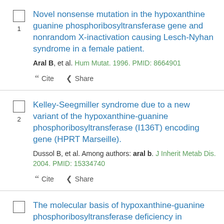1. Novel nonsense mutation in the hypoxanthine guanine phosphoribosyltransferase gene and nonrandom X-inactivation causing Lesch-Nyhan syndrome in a female patient. Aral B, et al. Hum Mutat. 1996. PMID: 8664901
2. Kelley-Seegmiller syndrome due to a new variant of the hypoxanthine-guanine phosphoribosyltransferase (I136T) encoding gene (HPRT Marseille). Dussol B, et al. Among authors: aral b. J Inherit Metab Dis. 2004. PMID: 15334740
3. The molecular basis of hypoxanthine-guanine phosphoribosyltransferase deficiency in...